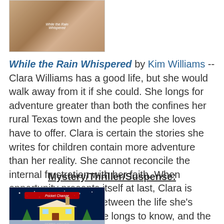[Figure (photo): Book cover thumbnail at top of page, partially visible]
While the Rain Whispered by Kim Williams -- Clara Williams has a good life, but she would walk away from it if she could. She longs for adventure greater than both the confines her rural Texas town and the people she loves have to offer. Clara is certain the stories she writes for children contain more adventure than her reality. She cannot reconcile the internal frustration with her faith. When opportunity presents itself at last, Clara is faced with a choice between the life she's known and the life she longs to know, and the men who each belong in one but not the other. (Historical Romance, Independently Published)
Mystery/Thriller/Suspense:
[Figure (photo): Book cover for a mystery/thriller book showing a house at night with snow, title appears to be Pocket Change, author Debbie Archer]